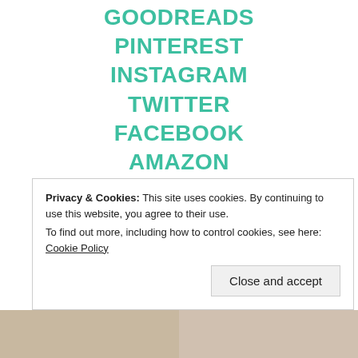GOODREADS
PINTEREST
INSTAGRAM
TWITTER
FACEBOOK
AMAZON
BOOK+MAIN
SIGNED BOOKS
Privacy & Cookies: This site uses cookies. By continuing to use this website, you agree to their use.
To find out more, including how to control cookies, see here: Cookie Policy
Close and accept
[Figure (photo): Two small image thumbnails at the bottom of the page]